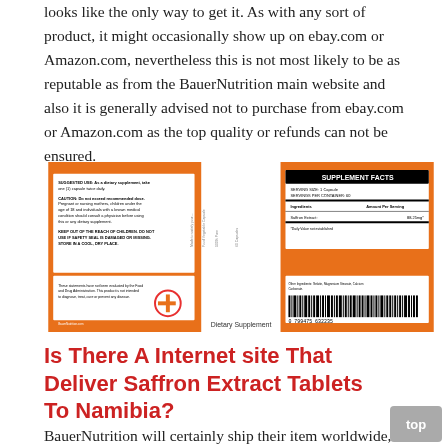looks like the only way to get it. As with any sort of product, it might occasionally show up on ebay.com or Amazon.com, nevertheless this is not most likely to be as reputable as from the BauerNutrition main website and also it is generally advised not to purchase from ebay.com or Amazon.com as the top quality or refunds can not be ensured.
[Figure (photo): Product label for Saffron Weight Management dietary supplement by BauerNutrition showing supplement facts, barcode, suggested use and caution text on an orange and white label.]
Is There A Internet site That Deliver Saffron Extract Tablets To Namibia?
BauerNutrition will certainly ship their item worldwide,